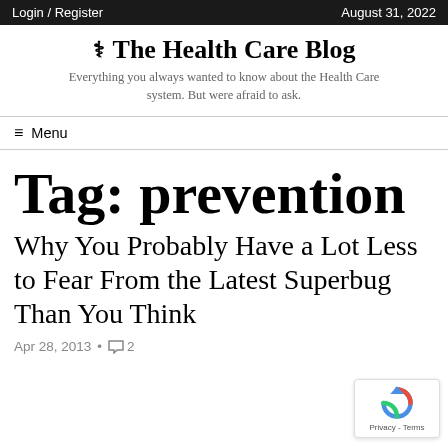Login / Register   August 31, 2022
The Health Care Blog
Everything you always wanted to know about the Health Care system. But were afraid to ask.
≡ Menu
Tag: prevention
Why You Probably Have a Lot Less to Fear From the Latest Superbug Than You Think
Apr 28, 2013 • 💬 2